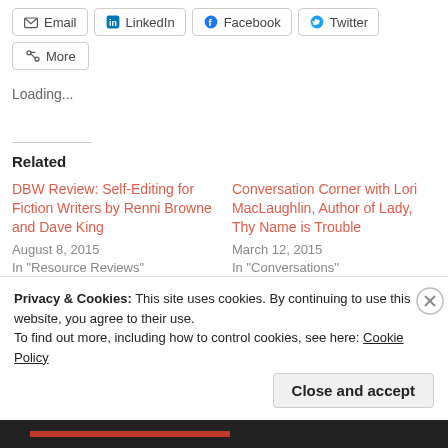Email
LinkedIn
Facebook
Twitter
More
Loading...
Related
DBW Review: Self-Editing for Fiction Writers by Renni Browne and Dave King
August 8, 2015
In "Resource Reviews"
Conversation Corner with Lori MacLaughlin, Author of Lady, Thy Name is Trouble
March 12, 2015
In "Conversations"
Privacy & Cookies: This site uses cookies. By continuing to use this website, you agree to their use.
To find out more, including how to control cookies, see here: Cookie Policy
Close and accept